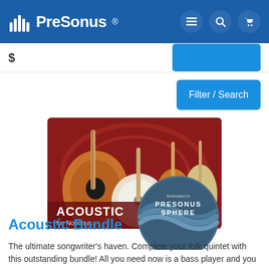PreSonus
$999
Filter / Search
[Figure (photo): Product image for Acoustic Bundle showing acoustic guitar, banjo, mandolin, and classical guitar with 'ACOUSTIC for Notion a...' text overlay and 'Included in PRESONUS SPHERE' badge]
Acoustic Bundle
The ultimate songwriter's haven. Complete your folk quintet with this outstanding bundle! All you need now is a bass player and you are...